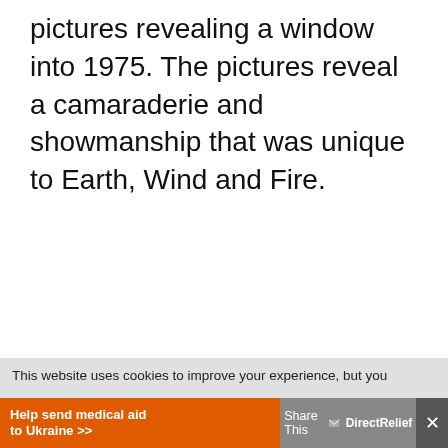pictures revealing a window into 1975. The pictures reveal a camaraderie and showmanship that was unique to Earth, Wind and Fire.
This website uses cookies to improve your experience, but you
Help send medical aid to Ukraine >> Share This DirectRelief ×